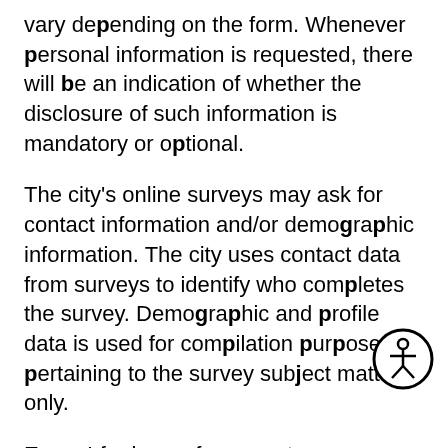vary depending on the form. Whenever personal information is requested, there will be an indication of whether the disclosure of such information is mandatory or optional.
The city's online surveys may ask for contact information and/or demographic information. The city uses contact data from surveys to identify who completes the survey. Demographic and profile data is used for compilation purposes pertaining to the survey subject matter only.
Except for law enforcement investigations, no other attempts are made to identify individual viewers of the city's website or their viewing habits. The City of Allen may be required by law enforcement or judicial authorities to provide personally identifiable